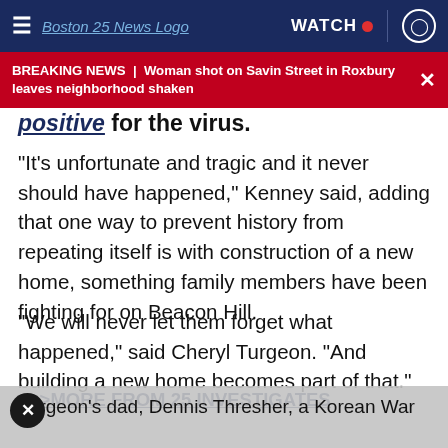Boston 25 News | WATCH
BREAKING NEWS | Woman shot on Savin Street in Roxbury leaves neighborhood shaken
positive for the virus.
“It’s unfortunate and tragic and it never should have happened,” Kenney said, adding that one way to prevent history from repeating itself is with construction of a new home, something family members have been fighting for on Beacon Hill.
“We will never let them forget what happened,” said Cheryl Turgeon. “And building a new home becomes part of that.”
>>>MORE FROM 25 INVESTIGATES
Turgeon’s dad, Dennis Thresher, a Korean War